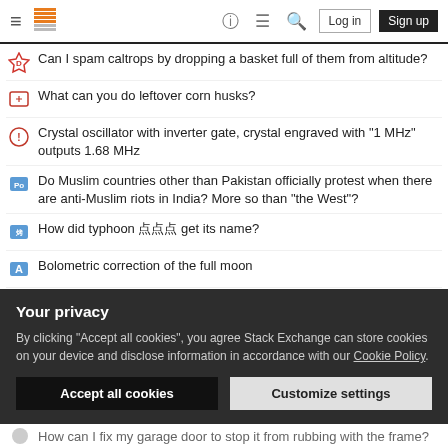Stack Exchange navigation header with hamburger menu, logo, help, chat, search icons, Log in and Sign up buttons
Can I spam caltrops by dropping a basket full of them from altitude?
What can you do leftover corn husks?
Crystal oscillator with inverter gate, crystal engraved with "1 MHz" outputs 1.68 MHz
Do Muslim countries other than Pakistan officially protest when there are anti-Muslim riots in India? More so than "the West"?
How did typhoon 🌀🌀🌀 get its name?
Bolometric correction of the full moon
Decomposition of an ultrafilter on the fibers of a map
What is the argument of this function?
Your privacy
By clicking "Accept all cookies", you agree Stack Exchange can store cookies on your device and disclose information in accordance with our Cookie Policy.
How can I fix my garage door to stop it from rubbing with the frame?